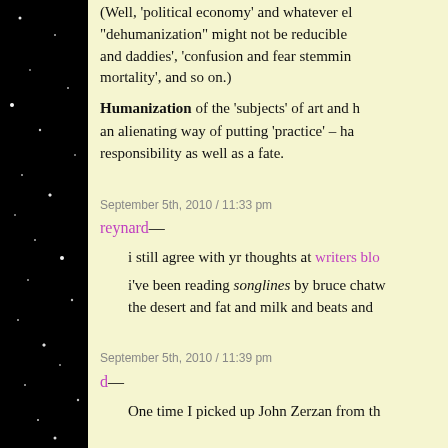(Well, 'political economy' and whatever else... 'dehumanization' might not be reducible... and daddies', 'confusion and fear stemming... mortality', and so on.)
Humanization of the 'subjects' of art and h... an alienating way of putting 'practice' – ha... responsibility as well as a fate.
September 5th, 2010 / 11:33 pm
reynard—
i still agree with yr thoughts at writers blo...
i've been reading songlines by bruce chatw... the desert and fat and milk and beats and...
September 5th, 2010 / 11:39 pm
d—
One time I picked up John Zerzan from th...